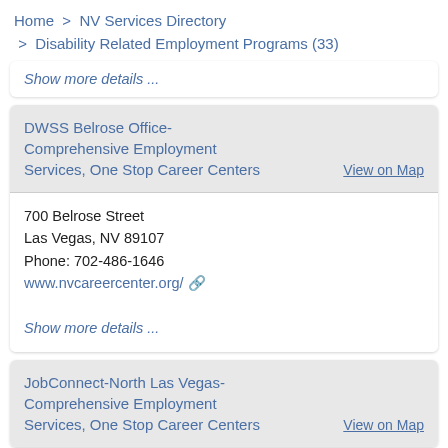Home > NV Services Directory > Disability Related Employment Programs (33)
Show more details ...
DWSS Belrose Office-Comprehensive Employment Services, One Stop Career Centers
View on Map
700 Belrose Street
Las Vegas, NV 89107
Phone: 702-486-1646
www.nvcareercenter.org/
Show more details ...
JobConnect-North Las Vegas-Comprehensive Employment Services, One Stop Career Centers
View on Map